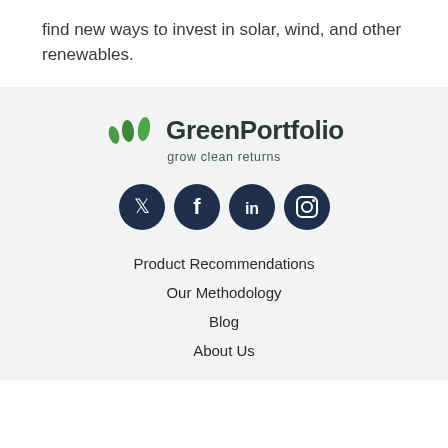find new ways to invest in solar, wind, and other renewables.
[Figure (logo): GreenPortfolio logo with three green leaf icons and tagline 'grow clean returns']
[Figure (infographic): Social media icons: Twitter, Facebook, LinkedIn, Instagram — dark navy circles]
Product Recommendations
Our Methodology
Blog
About Us